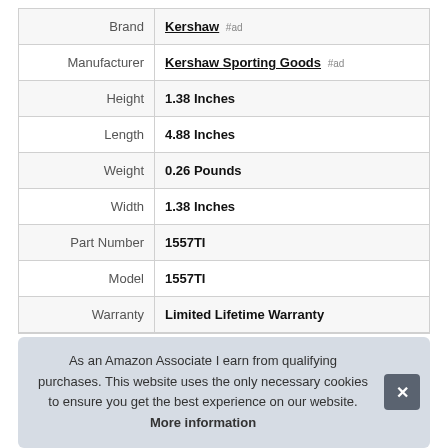| Attribute | Value |
| --- | --- |
| Brand | Kershaw #ad |
| Manufacturer | Kershaw Sporting Goods #ad |
| Height | 1.38 Inches |
| Length | 4.88 Inches |
| Weight | 0.26 Pounds |
| Width | 1.38 Inches |
| Part Number | 1557TI |
| Model | 1557TI |
| Warranty | Limited Lifetime Warranty |
As an Amazon Associate I earn from qualifying purchases. This website uses the only necessary cookies to ensure you get the best experience on our website. More information